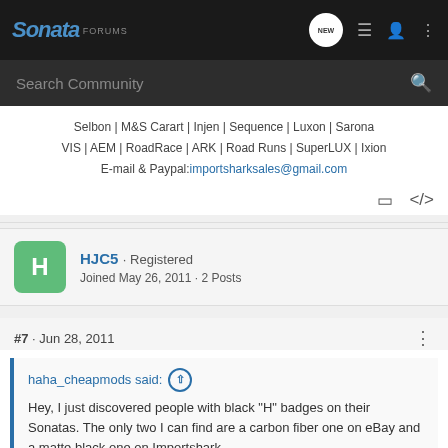Sonata FORUMS
Search Community
Selbon | M&S Carart | Injen | Sequence | Luxon | Sarona
VIS | AEM | RoadRace | ARK | Road Runs | SuperLUX | Ixion
E-mail & Paypal: importsharksales@gmail.com
HJC5 · Registered
Joined May 26, 2011 · 2 Posts
#7 · Jun 28, 2011
haha_cheapmods said: ↑
Hey, I just discovered people with black "H" badges on their Sonatas. The only two I can find are a carbon fiber one on eBay and a matte black one on Importshark.
importshark.com